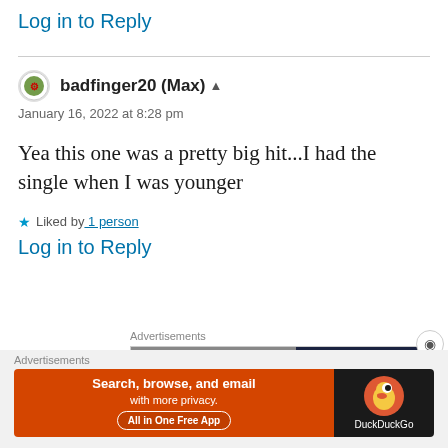Log in to Reply
badfinger20 (Max)
January 16, 2022 at 8:28 pm
Yea this one was a pretty big hit...I had the single when I was younger
Liked by 1 person
Log in to Reply
Advertisements
[Figure (screenshot): Partial advertisement banner with dark blue and grey sections, showing a white box with letter D]
Advertisements
[Figure (screenshot): DuckDuckGo advertisement: orange background left side with text 'Search, browse, and email with more privacy. All in One Free App', dark right side with DuckDuckGo duck logo and brand name]